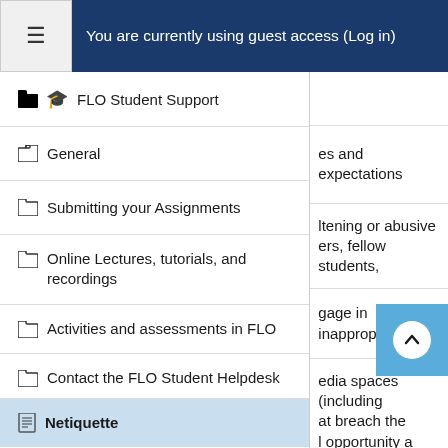You are currently using guest access (Log in)
FLO Student Support
General
Submitting your Assignments
Online Lectures, tutorials, and recordings
Activities and assessments in FLO
Contact the FLO Student Helpdesk
Netiquette
es and expectations
ltening or abusive
ers, fellow students,
gage in inappropriate
edia spaces (including
at breach the
l opportunity a
nduct and obli
s,